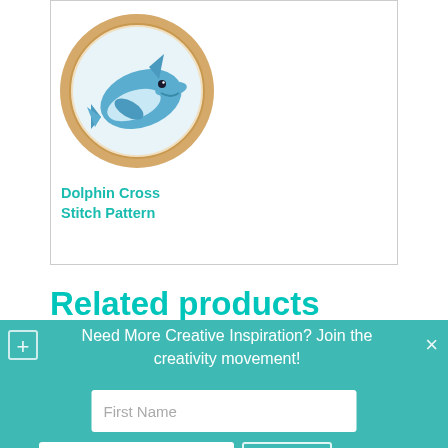[Figure (illustration): A cross-stitch embroidery hoop containing a cartoon dolphin illustration. The dolphin is blue/teal-ish on a pale background with a tan/peach embroidery hoop border.]
Dolphin Cross Stitch Pattern
Related products
Need More Creative Inspiration? Join the creativity movement!
First Name
Your email
Submit!